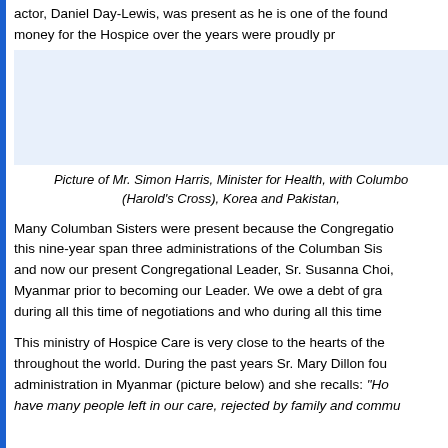actor, Daniel Day-Lewis, was present as he is one of the founders. Those who had raised money for the Hospice over the years were proudly pr
[Figure (photo): Image of Mr. Simon Harris, Minister for Health, with Columban Sisters (Harold's Cross), Korea and Pakistan]
Picture of Mr. Simon Harris, Minister for Health, with Columban Sisters (Harold's Cross), Korea and Pakistan,
Many Columban Sisters were present because the Congregation this nine-year span three administrations of the Columban Sisters and now our present Congregational Leader, Sr. Susanna Choi, Myanmar prior to becoming our Leader. We owe a debt of gratitude during all this time of negotiations and who during all this time
This ministry of Hospice Care is very close to the hearts of the throughout the world. During the past years Sr. Mary Dillon founded administration in Myanmar (picture below) and she recalls: “Ho have many people left in our care, rejected by family and community